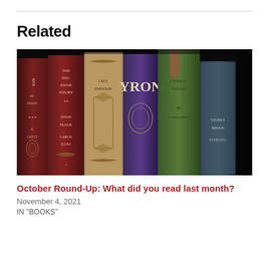Related
[Figure (photo): A row of old vintage hardcover books standing upright on a shelf, photographed in close-up showing their spines, including books by Byron and others, against a dark background]
October Round-Up: What did you read last month?
November 4, 2021
IN "BOOKS"